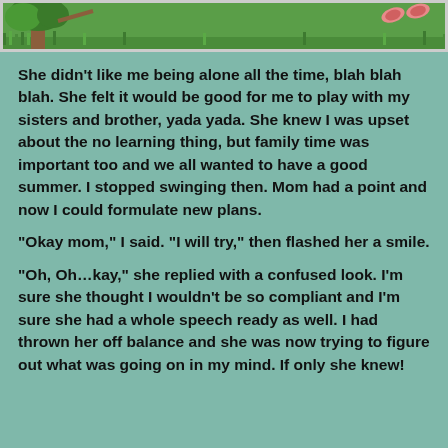[Figure (illustration): Top strip showing a grassy outdoor scene with a tree on the left and pink feet/shoes visible on the right, suggesting a child on a swing]
She didn't like me being alone all the time, blah blah blah.  She felt it would be good for me to play with my sisters and brother, yada yada.    She knew I was upset about the no learning thing, but family time was important too and we all wanted to have a good summer.  I stopped swinging then.  Mom had a point and now I could formulate new plans.
“Okay mom,” I said.  “I will try,” then flashed her a smile.
“Oh, Oh…kay,” she replied with a confused look.  I’m sure she thought I wouldn’t be so compliant and I’m sure she had a whole speech ready as well.  I had thrown her off balance and she was now trying to figure out what was going on in my mind.  If only she knew!